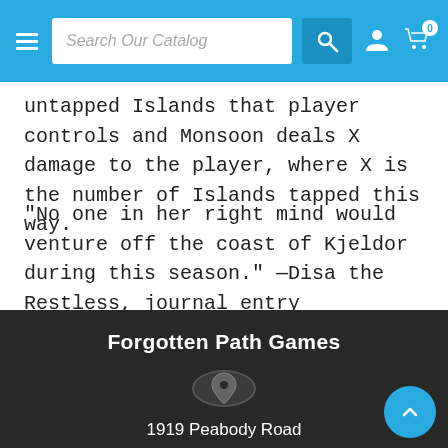Search Our Catalog
untapped Islands that player controls and Monsoon deals X damage to the player, where X is the number of Islands tapped this way.
"No one in her right mind would venture off the coast of Kjeldor during this season." —Disa the Restless, journal entry
Forgotten Path Games
1919 Peabody Road
Vacaville, CA 95687